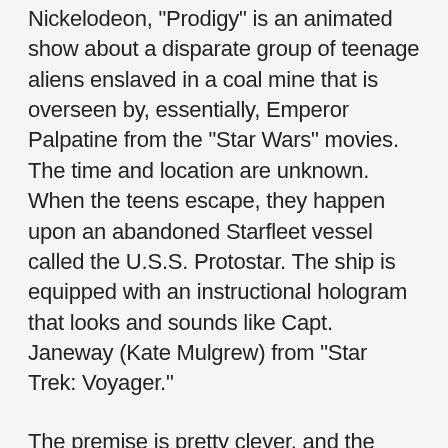Nickelodeon, "Prodigy" is an animated show about a disparate group of teenage aliens enslaved in a coal mine that is overseen by, essentially, Emperor Palpatine from the "Star Wars" movies. The time and location are unknown. When the teens escape, they happen upon an abandoned Starfleet vessel called the U.S.S. Protostar. The ship is equipped with an instructional hologram that looks and sounds like Capt. Janeway (Kate Mulgrew) from "Star Trek: Voyager."
The premise is pretty clever, and the mystery of when and where the show takes place is intriguing, but … it's far too slow-going. Some of the plot details listed above are not revealed in "Lost and Found" by itself, and the actual mysteries of the show take a while to be revealed, much less solved. What's more, the design of the characters is more reminiscent of a generic sci-fi animated series than the Star Trek...